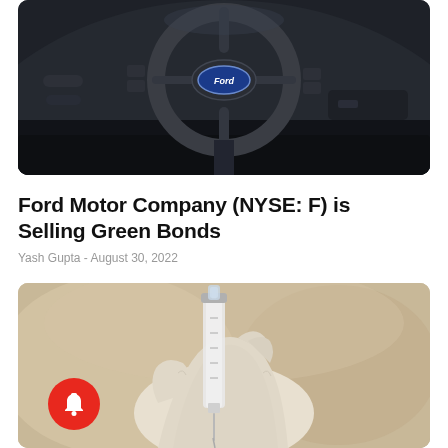[Figure (photo): Close-up photo of a Ford car steering wheel interior, dark tones, showing the Ford oval logo in the center]
Ford Motor Company (NYSE: F) is Selling Green Bonds
Yash Gupta - August 30, 2022
[Figure (photo): Close-up photo of a gloved hand holding a medical syringe/needle, blurred beige background]